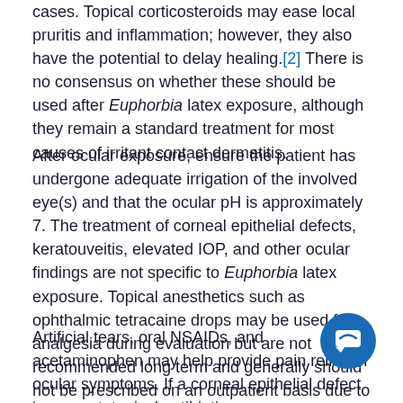cases. Topical corticosteroids may ease local pruritis and inflammation; however, they also have the potential to delay healing.[2] There is no consensus on whether these should be used after Euphorbia latex exposure, although they remain a standard treatment for most causes of irritant contact dermatitis.
After ocular exposure, ensure the patient has undergone adequate irrigation of the involved eye(s) and that the ocular pH is approximately 7. The treatment of corneal epithelial defects, keratouveitis, elevated IOP, and other ocular findings are not specific to Euphorbia latex exposure. Topical anesthetics such as ophthalmic tetracaine drops may be used for analgesia during evaluation but are not recommended long term and generally should not be prescribed on an outpatient basis due to the risk of corneal complications with prolonged use.[14]
Artificial tears, oral NSAIDs, and acetaminophen may help provide pain relief for ocular symptoms. If a corneal epithelial defect is present, topical antibiotics are recommended to help prevent secondary bacterial infections. If the patient wears contact lenses, consider an